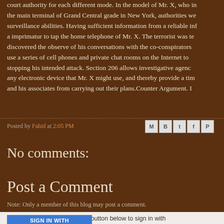court authority for each different mode. In the model of Mr. X, who in the main terminal of Grand Central grade in New York, authorities we surveillance abilities. Having sufficient information from a reliable inf a imprimatur to tap the home telephone of Mr. X. The terrorist was te discovered the observe of his conversations with the co-conspirators use a series of cell phones and private chat rooms on the Internet to stopping his intended attack. Section 206 allows investigative agenc any electronic device that Mr. X might use, and thereby provide a ti and his associates from carrying out their plans.Counter Argument. I
Posted by Fahid at 2:05 PM
No comments:
Post a Comment
Note: Only a member of this blog may post a comment.
To leave a comment, click the button below to sign in with